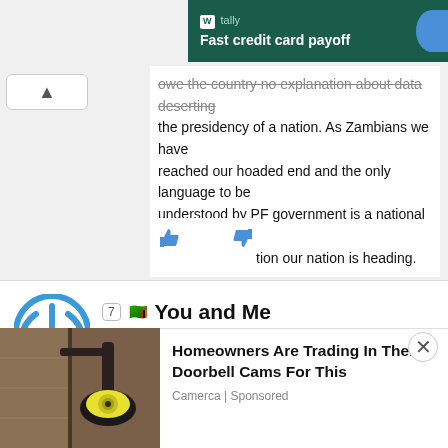[Figure (screenshot): Tally ad banner: dark green background with Tally logo and 'Fast credit card payoff' text, blue button on right]
owe the country no explanation about data deserting the presidency of a nation. As Zambians we have reached our hoaded end and the only language to be understood by PF government is a national civil unrest. This is the direction our nation is heading.
[Figure (illustration): Thumbs up and thumbs down icons in blue]
[Figure (illustration): Horizontal divider line]
[Figure (illustration): Blue power/circle avatar icon for commenter 'You and Me']
7 🇿🇲 You and Me
August 19, 2014 At 1:24 pm
Brian, you have left us to ponder as to what happens next … ahead
[Figure (photo): Doorbell camera security light photo on wall]
Homeowners Are Trading In Their Doorbell Cams For This
Camerca | Sponsored